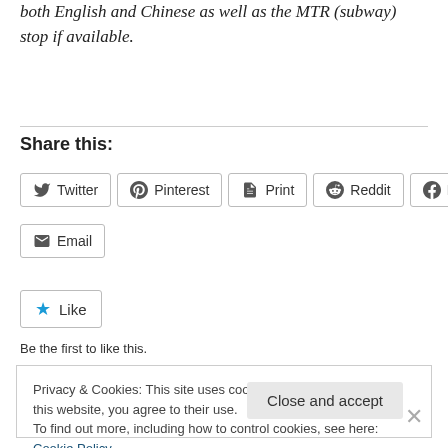both English and Chinese as well as the MTR (subway) stop if available.
Share this:
Twitter Pinterest Print Reddit Facebook Email
Like
Be the first to like this.
Privacy & Cookies: This site uses cookies. By continuing to use this website, you agree to their use. To find out more, including how to control cookies, see here: Cookie Policy
Close and accept